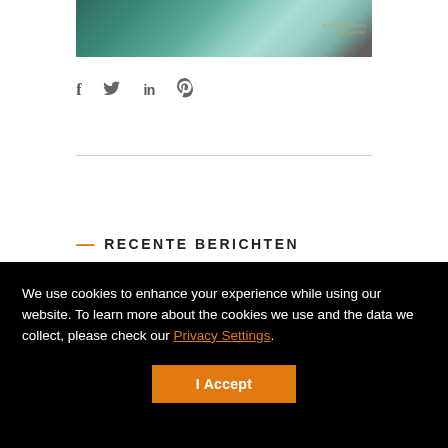[Figure (photo): Partial top image showing a blurred/stylized scene with teal/green tones and some text overlay on the right side]
[Figure (infographic): Social sharing icons row: Facebook (f), Twitter (bird), LinkedIn (in), Pinterest (P)]
— RECENTE BERICHTEN
We use cookies to enhance your experience while using our website. To learn more about the cookies we use and the data we collect, please check our Privacy Settings.
I Accept